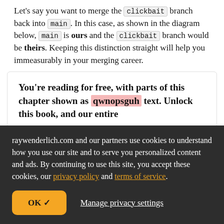Let's say you want to merge the clickbait branch back into main. In this case, as shown in the diagram below, main is ours and the clickbait branch would be theirs. Keeping this distinction straight will help you immeasurably in your merging career.
You're reading for free, with parts of this chapter shown as qwnopsguh text. Unlock this book, and our entire
raywenderlich.com and our partners use cookies to understand how you use our site and to serve you personalized content and ads. By continuing to use this site, you accept these cookies, our privacy policy and terms of service.